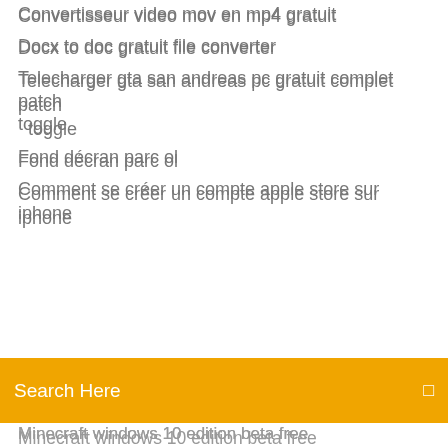Convertisseur video mov en mp4 gratuit
Docx to doc gratuit file converter
Telecharger gta san andreas pc gratuit complet patch toggle
Fond décran parc ol
Comment se créer un compte apple store sur iphone
Search Here
Minecraft windows 10 edition beta free
Lecteur video pour mac gratuit
Télécharger vlc windows 10 32 bit
Whos your daddy game gratuit demo
Ip camera for pc software
Code triche gta 4 arme
Je nai plus de suggestion damis sur facebook
Afficher lhorloge sur le bureau
Comment savoir si mon ami m bloqué sur facebook
Pack office a vie boulanger
Samsung kies gratuit software télécharger for windows un